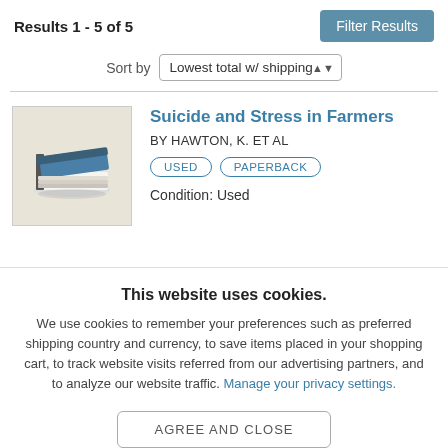Results 1 - 5 of 5
Filter Results
Sort by  Lowest total w/ shipping
[Figure (illustration): Book icon illustration showing a stack of books with a blue cover, on a beige background]
Suicide and Stress in Farmers
BY HAWTON, K. ET AL
USED   PAPERBACK
Condition:  Used
This website uses cookies.
We use cookies to remember your preferences such as preferred shipping country and currency, to save items placed in your shopping cart, to track website visits referred from our advertising partners, and to analyze our website traffic. Manage your privacy settings.
AGREE AND CLOSE